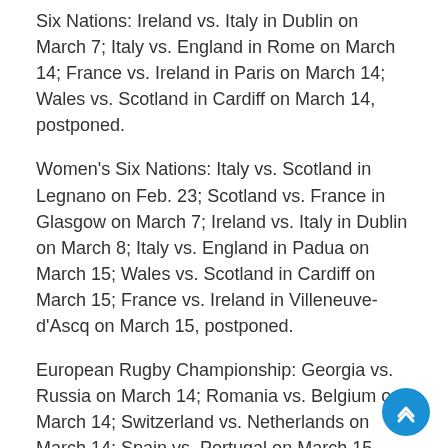Six Nations: Ireland vs. Italy in Dublin on March 7; Italy vs. England in Rome on March 14; France vs. Ireland in Paris on March 14; Wales vs. Scotland in Cardiff on March 14, postponed.
Women's Six Nations: Italy vs. Scotland in Legnano on Feb. 23; Scotland vs. France in Glasgow on March 7; Ireland vs. Italy in Dublin on March 8; Italy vs. England in Padua on March 15; Wales vs. Scotland in Cardiff on March 15; France vs. Ireland in Villeneuve-d'Ascq on March 15, postponed.
European Rugby Championship: Georgia vs. Russia on March 14; Romania vs. Belgium on March 14; Switzerland vs. Netherlands on March 14; Spain vs. Portugal on March 15, postponed.
Euopean Rugby Women's Championship: Spain vs.